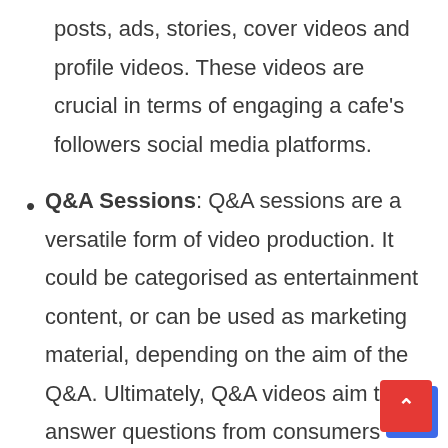posts, ads, stories, cover videos and profile videos. These videos are crucial in terms of engaging a cafe's followers social media platforms.
Q&A Sessions: Q&A sessions are a versatile form of video production. It could be categorised as entertainment content, or can be used as marketing material, depending on the aim of the Q&A. Ultimately, Q&A videos aim to answer questions from consumers who are curious about the business. These Q&A videos enable cafe owners to engage with their consumers on a